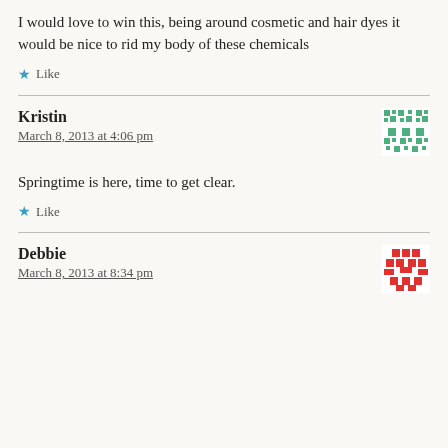I would love to win this, being around cosmetic and hair dyes it would be nice to rid my body of these chemicals
Like
Kristin
March 8, 2013 at 4:06 pm
Springtime is here, time to get clear.
Like
Debbie
March 8, 2013 at 8:34 pm